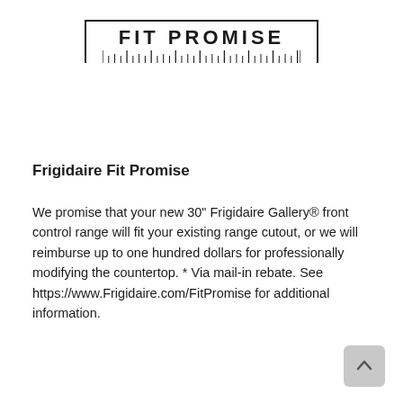[Figure (logo): Frigidaire Fit Promise logo with ruler-style border and tick marks at bottom]
Frigidaire Fit Promise
We promise that your new 30" Frigidaire Gallery® front control range will fit your existing range cutout, or we will reimburse up to one hundred dollars for professionally modifying the countertop. * Via mail-in rebate. See https://www.Frigidaire.com/FitPromise for additional information.